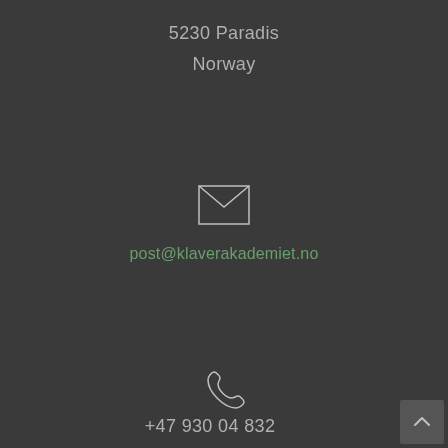5230 Paradis
Norway
[Figure (illustration): Envelope/mail icon outlined in light color on dark background]
post@klaverakademiet.no
[Figure (illustration): Phone/telephone handset icon outlined in light color on dark background]
+47 930 04 832